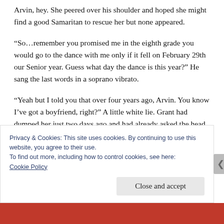Arvin, hey. She peered over his shoulder and hoped she might find a good Samaritan to rescue her but none appeared.
“So…remember you promised me in the eighth grade you would go to the dance with me only if it fell on February 29th our Senior year. Guess what day the dance is this year?” He sang the last words in a soprano vibrato.
“Yeah but I told you that over four years ago, Arvin. You know I’ve got a boyfriend, right?” A little white lie. Grant had dumped her just two days ago and had already asked the head cheerleader, Ashley, to go with him three days ago.
Privacy & Cookies: This site uses cookies. By continuing to use this website, you agree to their use.
To find out more, including how to control cookies, see here:
Cookie Policy